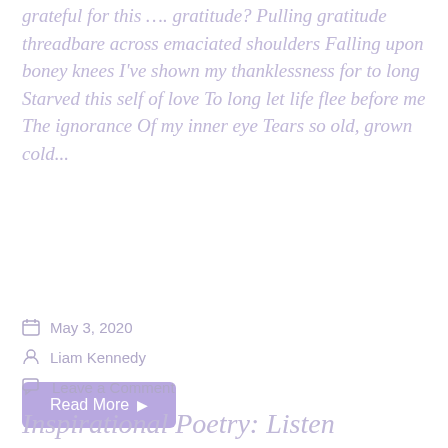grateful for this …. gratitude? Pulling gratitude threadbare across emaciated shoulders Falling upon boney knees I've shown my thanklessness for to long Starved this self of love To long let life flee before me The ignorance Of my inner eye Tears so old, grown cold...
Read More ▶
[Figure (illustration): A light grey circle, likely an avatar placeholder]
May 3, 2020
Liam Kennedy
Leave a Comment
Inspirational Poetry: Listen